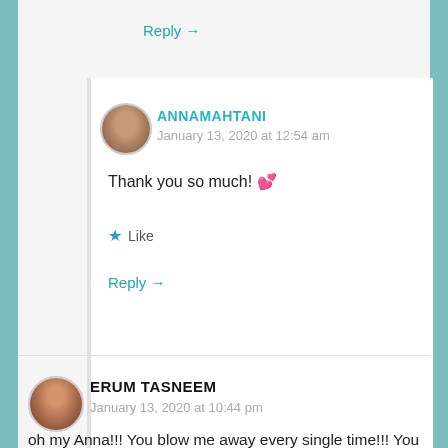Reply →
ANNAMAHTANI
January 13, 2020 at 12:54 am
Thank you so much! 💕
★ Like
Reply →
ERUM TASNEEM
January 13, 2020 at 10:44 pm
oh my Anna!!! You blow me away every single time!!! You rock, this project rocks!